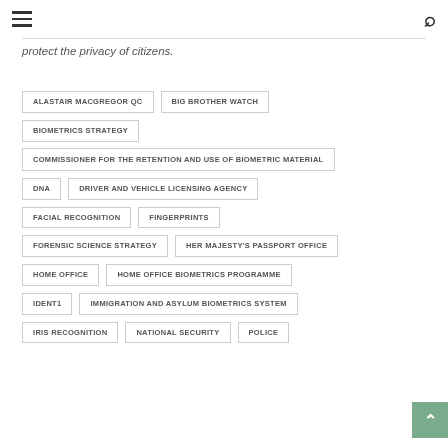Navigation header with hamburger menu and search icon
protect the privacy of citizens.
ALASTAIR MACGREGOR QC
BIG BROTHER WATCH
BIOMETRICS STRATEGY
COMMISSIONER FOR THE RETENTION AND USE OF BIOMETRIC MATERIAL
DNA
DRIVER AND VEHICLE LICENSING AGENCY
FACIAL RECOGNITION
FINGERPRINTS
FORENSIC SCIENCE STRATEGY
HER MAJESTY'S PASSPORT OFFICE
HOME OFFICE
HOME OFFICE BIOMETRICS PROGRAMME
IDENT1
IMMIGRATION AND ASYLUM BIOMETRICS SYSTEM
IRIS RECOGNITION
NATIONAL SECURITY
POLICE